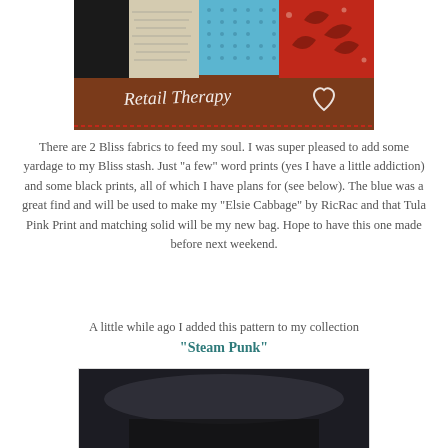[Figure (photo): Photo of fabric swatches arranged on a wooden surface with handwritten text 'Retail Therapy' and a heart symbol overlaid on the image]
There are 2 Bliss fabrics to feed my soul. I was super pleased to add some yardage to my Bliss stash. Just "a few" word prints (yes I have a little addiction) and some black prints, all of which I have plans for (see below). The blue was a great find and will be used to make my "Elsie Cabbage" by RicRac and that Tula Pink Print and matching solid will be my new bag. Hope to have this one made before next weekend.
A little while ago I added this pattern to my collection "Steam Punk"
[Figure (photo): Partial photo showing dark fabric or pattern at the bottom of the page]